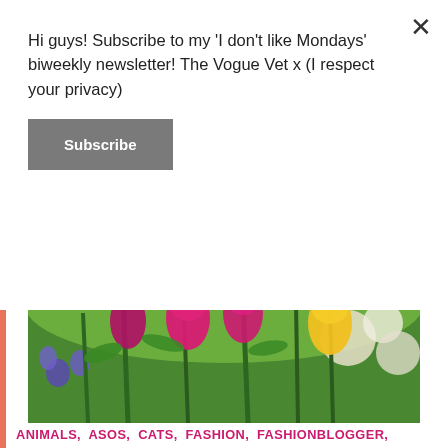Hi guys! Subscribe to my 'I don't like Mondays' biweekly newsletter! The Vogue Vet x (I respect your privacy)
Subscribe
[Figure (photo): Colorful spring tulips and flowers including purple, magenta/pink, and yellow tulips with green stems and white flowers in the background]
ANIMALS, ASOS, CATS, FASHION, FASHIONBLOGGER, LONDONBLOGGER, NASTYGAL, NEWLOOK, NEXT, NOBODYSCHILD, OOTD, PETS, STYLE, STYLEBLOGGER, STYLEINSPO, TOPSHOP, TREND, UNCATEGORIZED, URBANOUTFITTERS, VET, VETERINARIAN, VETERINARY, VETERINARYSURGEON, VINTAGE, VINTAGECLOTHES, VINTAGESHOPPING, VINTAGESTYLE, WALES, WHATIWORE, WIWT, ZARA